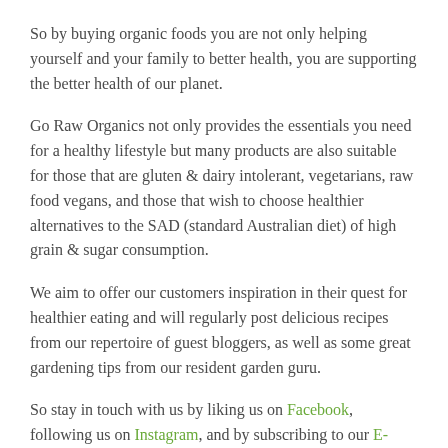So by buying organic foods you are not only helping yourself and your family to better health, you are supporting the better health of our planet.
Go Raw Organics not only provides the essentials you need for a healthy lifestyle but many products are also suitable for those that are gluten & dairy intolerant, vegetarians, raw food vegans, and those that wish to choose healthier alternatives to the SAD (standard Australian diet) of high grain & sugar consumption.
We aim to offer our customers inspiration in their quest for healthier eating and will regularly post delicious recipes from our repertoire of guest bloggers, as well as some great gardening tips from our resident garden guru.
So stay in touch with us by liking us on Facebook, following us on Instagram, and by subscribing to our E-Newsletter.
We look forward to helping you and your family enjoy great